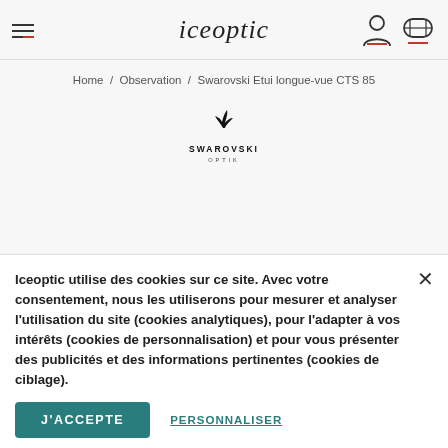iceoptic — navigation header with hamburger menu, logo, account icon, cart icon
Home / Observation / Swarovski Etui longue-vue CTS 85
[Figure (logo): Swarovski Optik brand logo with a bird silhouette and text SWAROVSKI OPTIK]
Iceoptic utilise des cookies sur ce site. Avec votre consentement, nous les utiliserons pour mesurer et analyser l'utilisation du site (cookies analytiques), pour l'adapter à vos intérêts (cookies de personnalisation) et pour vous présenter des publicités et des informations pertinentes (cookies de ciblage).
J'ACCEPTE
PERSONNALISER